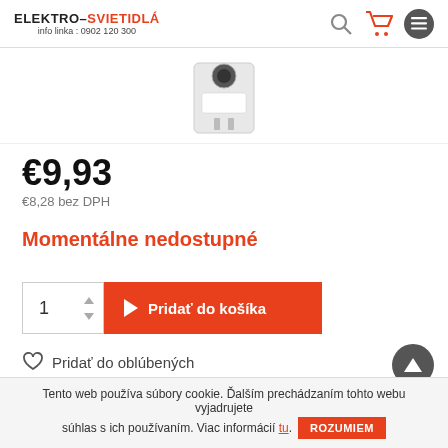ELEKTRO-SVIETIDLÁ info linka : 0902 120 300
[Figure (photo): Partial view of an electrical component/circuit breaker device, light gray/white color, shown cropped at top]
€9,93
€8,28 bez DPH
Momentálne nedostupné
1   Pridať do košíka
Pridať do oblúbených
Obj.číslo : 404077
Tento web používa súbory cookie. Ďalším prechádzaním tohto webu vyjadrujete súhlas s ich používaním. Viac informácií tu. ROZUMIEM